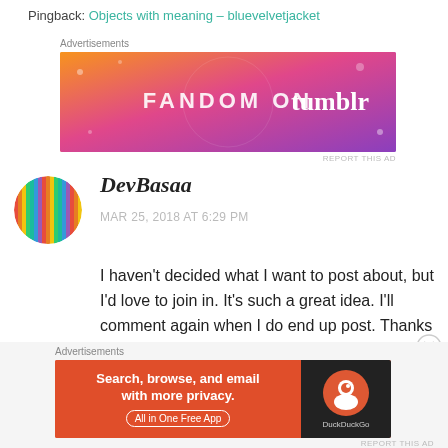Pingback: Objects with meaning – bluevelvetjacket
[Figure (other): Fandom on Tumblr advertisement banner with colorful gradient background]
DevBasaa
MAR 25, 2018 AT 6:29 PM
I haven't decided what I want to post about, but I'd love to join in. It's such a great idea. I'll comment again when I do end up post. Thanks for the invite!
[Figure (other): DuckDuckGo advertisement banner - Search, browse, and email with more privacy. All in One Free App]